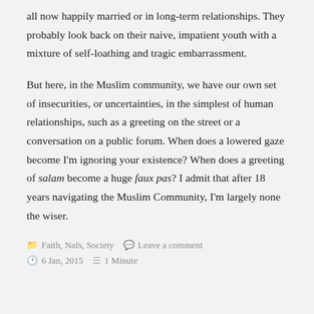all now happily married or in long-term relationships. They probably look back on their naive, impatient youth with a mixture of self-loathing and tragic embarrassment.
But here, in the Muslim community, we have our own set of insecurities, or uncertainties, in the simplest of human relationships, such as a greeting on the street or a conversation on a public forum. When does a lowered gaze become I'm ignoring your existence? When does a greeting of salam become a huge faux pas? I admit that after 18 years navigating the Muslim Community, I'm largely none the wiser.
Faith, Nafs, Society   Leave a comment   6 Jan, 2015   1 Minute